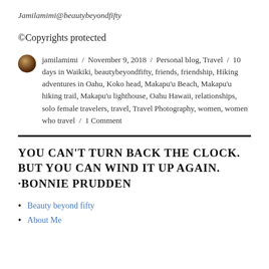Jamilamimi@beautybeyondfifty
©Copyrights protected
jamilamimi / November 9, 2018 / Personal blog, Travel / 10 days in Waikiki, beautybeyondfifty, friends, friendship, Hiking adventures in Oahu, Koko head, Makapu'u Beach, Makapu'u hiking trail, Makapu'u lighthouse, Oahu Hawaii, relationships, solo female travelers, travel, Travel Photography, women, women who travel / 1 Comment
YOU CAN'T TURN BACK THE CLOCK. BUT YOU CAN WIND IT UP AGAIN. -BONNIE PRUDDEN
Beauty beyond fifty
About Me